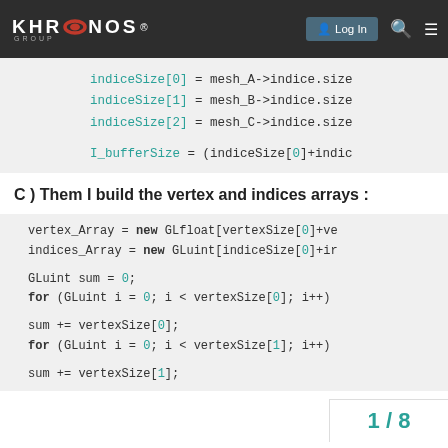Khronos Group — Log In
indiceSize[0] = mesh_A->indice.size
            indiceSize[1] = mesh_B->indice.size
            indiceSize[2] = mesh_C->indice.size

            I_bufferSize = (indiceSize[0]+indic
C ) Them I build the vertex and indices arrays :
vertex_Array = new GLfloat[vertexSize[0]+ve
    indices_Array = new GLuint[indiceSize[0]+ir

    GLuint sum = 0;
    for (GLuint i = 0; i < vertexSize[0]; i++)

    sum += vertexSize[0];
    for (GLuint i = 0; i < vertexSize[1]; i++)

    sum += vertexSize[1];
1 / 8